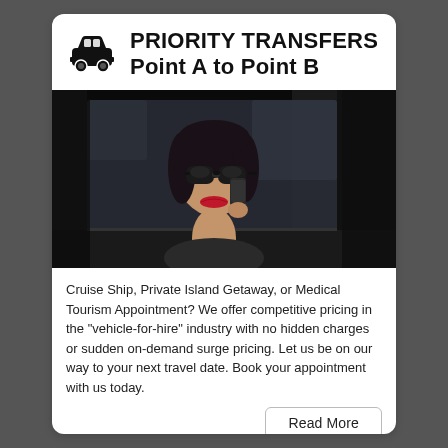PRIORITY TRANSFERS Point A to Point B
[Figure (photo): A woman wearing sunglasses and red lipstick looking out of a dark luxury car window while talking on a phone.]
Cruise Ship, Private Island Getaway, or Medical Tourism Appointment? We offer competitive pricing in the "vehicle-for-hire" industry with no hidden charges or sudden on-demand surge pricing. Let us be on our way to your next travel date. Book your appointment with us today.
Read More